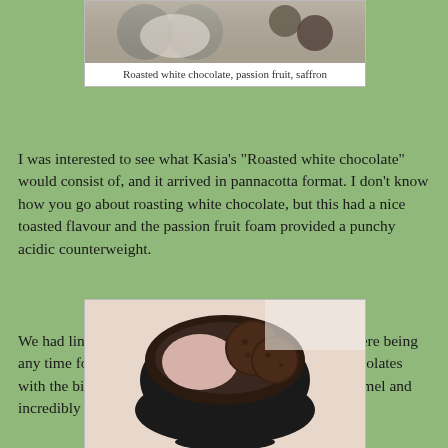[Figure (photo): Photo of a dessert dish - roasted white chocolate pannacotta with passion fruit and saffron, shown in a white plate with circular pattern]
Roasted white chocolate, passion fruit, saffron
I was interested to see what Kasia's "Roasted white chocolate" would consist of, and it arrived in pannacotta format. I don't know how you go about roasting white chocolate, but this had a nice toasted flavour and the passion fruit foam provided a punchy acidic counterweight.
We had lingered long enough over all this to rule out there being any time for coffee or tea, but we were given some chocolates with the bill which were lovely; a very good salted caramel and incredibly coffee-ish coffee and Pedro Ximinez truffle.
[Figure (photo): Photo of chocolates in a black bowl - showing salted caramel and coffee Pedro Ximinez truffles on a white tablecloth background]